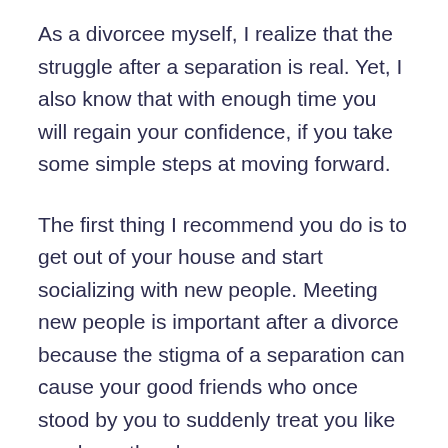As a divorcee myself, I realize that the struggle after a separation is real. Yet, I also know that with enough time you will regain your confidence, if you take some simple steps at moving forward.
The first thing I recommend you do is to get out of your house and start socializing with new people. Meeting new people is important after a divorce because the stigma of a separation can cause your good friends who once stood by you to suddenly treat you like you have the plague.
It is as if they fear that your divorce will some